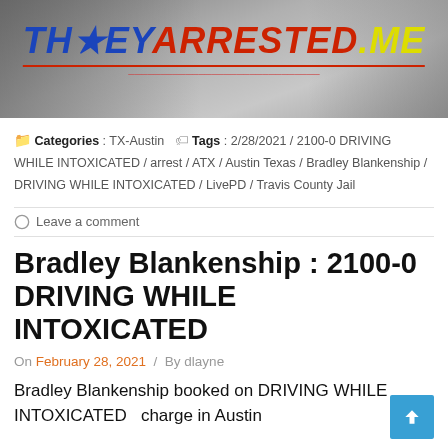[Figure (photo): Website header banner showing a person in background with TheyArrested.me logo overlaid in blue, red, and yellow text]
Categories : TX-Austin   Tags : 2/28/2021 / 2100-0 DRIVING WHILE INTOXICATED / arrest / ATX / Austin Texas / Bradley Blankenship / DRIVING WHILE INTOXICATED / LivePD / Travis County Jail
Leave a comment
Bradley Blankenship : 2100-0 DRIVING WHILE INTOXICATED
On February 28, 2021  /  By dlayne
Bradley Blankenship booked on DRIVING WHILE INTOXICATED  charge in Austin